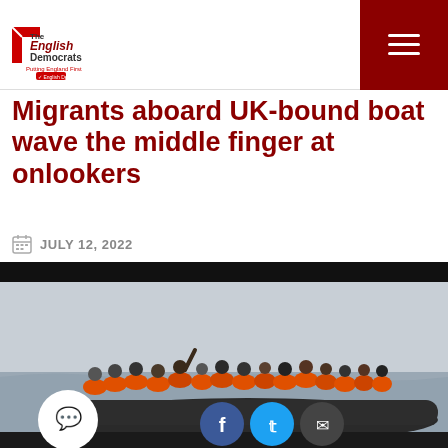The English Democrats - Putting England First
Migrants aboard UK-bound boat wave the middle finger at onlookers
JULY 12, 2022
[Figure (photo): Overcrowded inflatable dinghy with migrants wearing orange life vests on the water, some waving; social share buttons visible at bottom (Facebook, Twitter, Email) and a chat button on the left.]